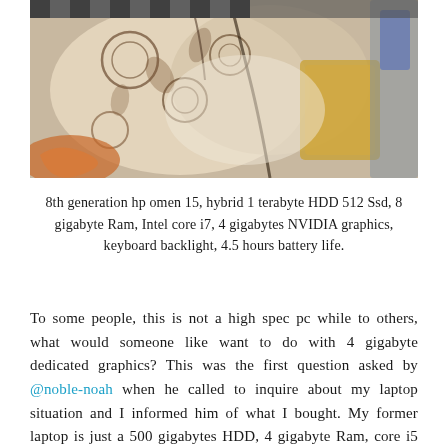[Figure (photo): Photo of a bag or pillow with floral/abstract pattern in beige, brown, and orange tones, placed among other items in a cluttered setting]
8th generation hp omen 15, hybrid 1 terabyte HDD 512 Ssd, 8 gigabyte Ram, Intel core i7, 4 gigabytes NVIDIA graphics, keyboard backlight, 4.5 hours battery life.
To some people, this is not a high spec pc while to others, what would someone like want to do with 4 gigabyte dedicated graphics? This was the first question asked by @noble-noah when he called to inquire about my laptop situation and I informed him of what I bought. My former laptop is just a 500 gigabytes HDD, 4 gigabyte Ram, core i5 with no